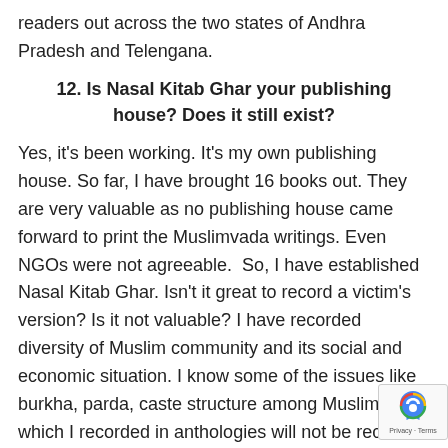readers out across the two states of Andhra Pradesh and Telengana.
12. Is Nasal Kitab Ghar your publishing house? Does it still exist?
Yes, it's been working. It's my own publishing house. So far, I have brought 16 books out. They are very valuable as no publishing house came forward to print the Muslimvada writings. Even NGOs were not agreeable.  So, I have established Nasal Kitab Ghar. Isn't it great to record a victim's version? Is it not valuable? I have recorded diversity of Muslim community and its social and economic situation. I know some of the issues like burkha, parda, caste structure among Muslims which I recorded in anthologies will not be received well even by our own community. Yet
[Figure (logo): reCAPTCHA badge with Privacy and Terms links]